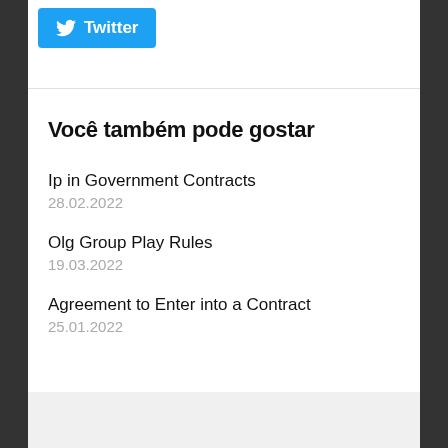[Figure (logo): Twitter share button with bird logo and 'Twitter' text on a blue rounded rectangle]
Você também pode gostar
Ip in Government Contracts
28.02.2022
Olg Group Play Rules
19.03.2022
Agreement to Enter into a Contract
25.01.2022